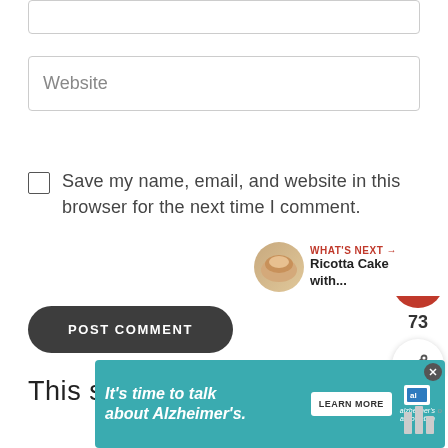[Figure (screenshot): Partial form input box at top of page, cropped]
Website
Save my name, email, and website in this browser for the next time I comment.
POST COMMENT
This site uses Akismet to reduce
[Figure (infographic): Heart/like button (red circle with heart icon) showing 73 likes, and a share button below it on the right side]
[Figure (infographic): What's Next widget showing a round food image thumbnail and text 'Ricotta Cake with...']
[Figure (infographic): Teal advertisement banner: It's time to talk about Alzheimer's. Learn More. Alzheimer's Association logo. Close button.]